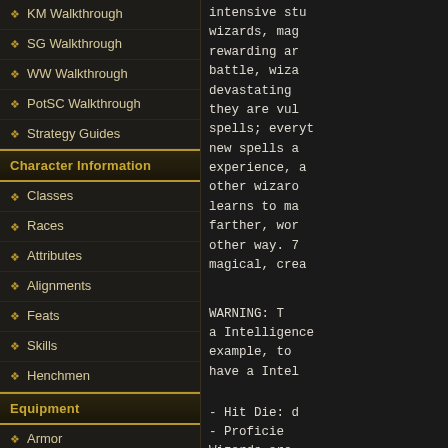KM Walkthrough
SG Walkthrough
WW Walkthrough
PotSC Walkthrough
Strategy Guides
Character Information
Classes
Races
Attributes
Alignments
Feats
Skills
Henchmen
Equipment
Armor
Weapons
Miscellaneous Items
Spells
intensive stu wizards, mag rewarding ar battle, wiza devastating they are vul spells; everyt new spells a experience, a other wizaro learns to ma farther, wor other way. 7 magical, crea
WARNING: T a Intelligence example, to have a Intel
- Hit Die: d
- Proficie Wizards are shields.
- Skill Points
- Spellcasting